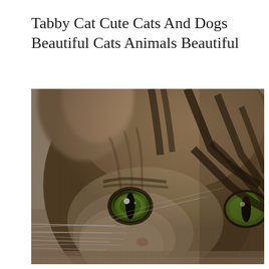Tabby Cat Cute Cats And Dogs Beautiful Cats Animals Beautiful
[Figure (photo): Close-up photograph of a tabby cat's face, showing green eyes, brown and black striped fur, and whiskers against a blurred beige background. The image is cropped to show approximately half the face.]